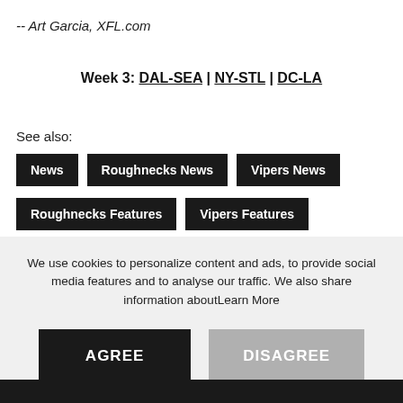-- Art Garcia, XFL.com
Week 3: DAL-SEA | NY-STL | DC-LA
See also:
News
Roughnecks News
Vipers News
Roughnecks Features
Vipers Features
We use cookies to personalize content and ads, to provide social media features and to analyse our traffic. We also share information aboutLearn More
AGREE
DISAGREE